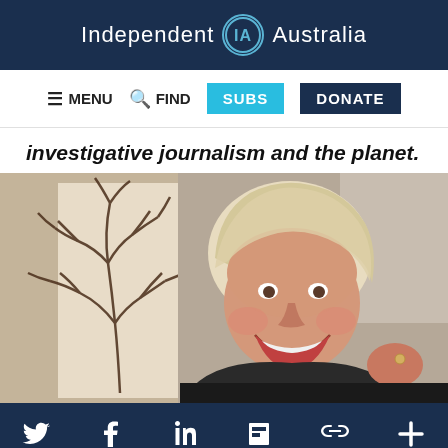Independent IA Australia
MENU   FIND   SUBS   DONATE
investigative journalism and the planet.
[Figure (photo): A smiling older woman with short blonde/white hair, laughing, with a decorative tree-branch artwork visible in the background to her left.]
Twitter | Facebook | LinkedIn | Flipboard | Link | More